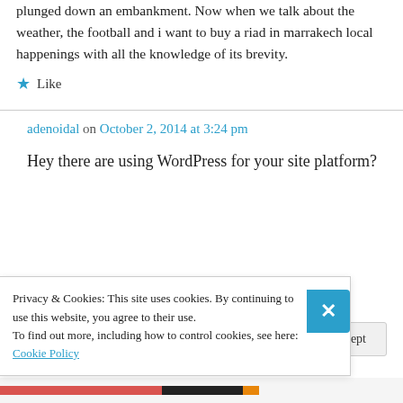plunged down an embankment. Now when we talk about the weather, the football and i want to buy a riad in marrakech local happenings with all the knowledge of its brevity.
★ Like
adenoidal on October 2, 2014 at 3:24 pm
Hey there are using WordPress for your site platform?
Privacy & Cookies: This site uses cookies. By continuing to use this website, you agree to their use.
To find out more, including how to control cookies, see here: Cookie Policy
Close and accept